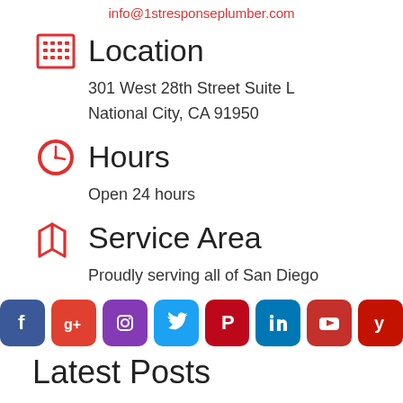info@1stresponseplumber.com
Location
301 West 28th Street Suite L
National City, CA 91950
Hours
Open 24 hours
Service Area
Proudly serving all of San Diego
[Figure (infographic): Row of 8 social media icons: Facebook (blue), Google+ (red-orange), Instagram (purple), Twitter (light blue), Pinterest (dark red), LinkedIn (blue), YouTube (red), Yelp (red)]
Latest Posts